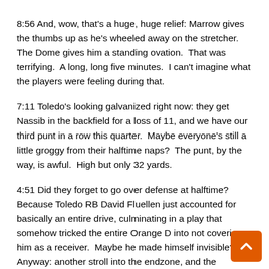8:56 And, wow, that's a huge, huge relief: Marrow gives the thumbs up as he's wheeled away on the stretcher.  The Dome gives him a standing ovation.  That was terrifying.  A long, long five minutes.  I can't imagine what the players were feeling during that.
7:11 Toledo's looking galvanized right now: they get Nassib in the backfield for a loss of 11, and we have our third punt in a row this quarter.  Maybe everyone's still a little groggy from their halftime naps?  The punt, by the way, is awful.  High but only 32 yards.
4:51 Did they forget to go over defense at halftime?  Because Toledo RB David Fluellen just accounted for basically an entire drive, culminating in a play that somehow tricked the entire Orange D into not covering him as a receiver.  Maybe he made himself invisible?  Anyway: another stroll into the endzone, and the Rockets are back on top, and I'm going to have to th some more synonyms for “porous.”